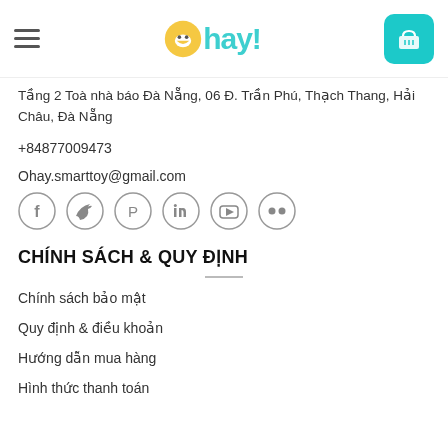Ohay!
Tầng 2 Toà nhà báo Đà Nẵng, 06 Đ. Trần Phú, Thạch Thang, Hải Châu, Đà Nẵng
+84877009473
Ohay.smarttoy@gmail.com
[Figure (other): Social media icons: Facebook, Twitter, Pinterest, LinkedIn, YouTube, Flickr]
CHÍNH SÁCH & QUY ĐỊNH
Chính sách bảo mật
Quy định & điều khoản
Hướng dẫn mua hàng
Hình thức thanh toán